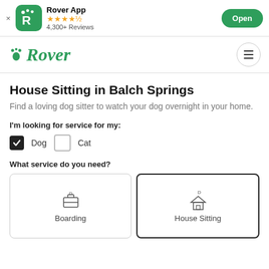Rover App — 4,300+ Reviews — Open
[Figure (logo): Rover app logo with paw print and R icon on green background, app name, star rating, review count, and Open button]
[Figure (logo): Rover website navigation bar with Rover logo in green italic script and hamburger menu icon]
House Sitting in Balch Springs
Find a loving dog sitter to watch your dog overnight in your home.
I'm looking for service for my:
Dog  Cat
What service do you need?
Boarding  House Sitting